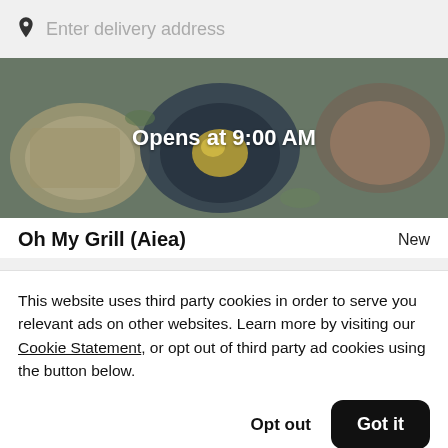Enter delivery address
[Figure (photo): Food photo showing plates of food with a dark overlay, overlaid with text 'Opens at 9:00 AM']
Oh My Grill (Aiea)
New
This website uses third party cookies in order to serve you relevant ads on other websites. Learn more by visiting our Cookie Statement, or opt out of third party ad cookies using the button below.
Opt out
Got it